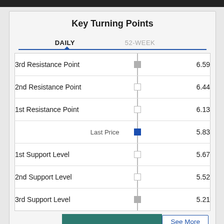Key Turning Points
|  |  |  | Value |
| --- | --- | --- | --- |
| 3rd Resistance Point |  |  | 6.59 |
| 2nd Resistance Point |  |  | 6.44 |
| 1st Resistance Point |  |  | 6.13 |
|  | Last Price |  | 5.83 |
| 1st Support Level |  |  | 5.67 |
| 2nd Support Level |  |  | 5.52 |
| 3rd Support Level |  |  | 5.21 |